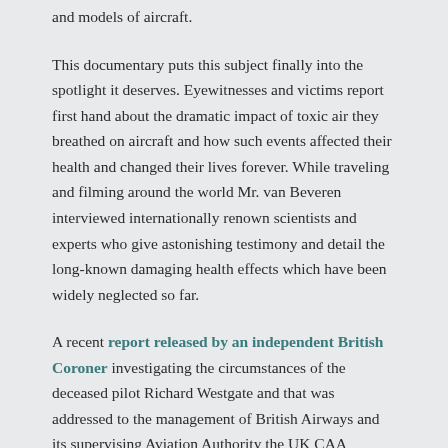and models of aircraft.
This documentary puts this subject finally into the spotlight it deserves. Eyewitnesses and victims report first hand about the dramatic impact of toxic air they breathed on aircraft and how such events affected their health and changed their lives forever. While traveling and filming around the world Mr. van Beveren interviewed internationally renown scientists and experts who give astonishing testimony and detail the long-known damaging health effects which have been widely neglected so far.
A recent report released by an independent British Coroner investigating the circumstances of the deceased pilot Richard Westgate and that was addressed to the management of British Airways and its supervising Aviation Authority the UK CAA...